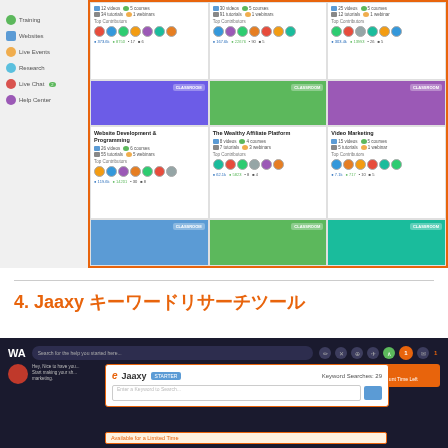[Figure (screenshot): Wealthy Affiliate training platform screenshot showing a sidebar with Training, Websites, Live Events, Research, Live Chat, Help Center menu items, and a 3-column grid of course categories including Website Development & Programming, The Wealthy Affiliate Platform, and Video Marketing, each showing video/tutorial/course counts, top contributors avatars, stats, and CLASSROOM buttons]
4. Jaaxy キーワードリサーチツール
[Figure (screenshot): Screenshot of Wealthy Affiliate platform showing the Jaaxy keyword research tool popup with STARTER badge, Keyword Searches: 29, an empty search field, and an upgrade offer box on the right side showing '1st Month Discount Time Left' and 'Available for a Limited Time']